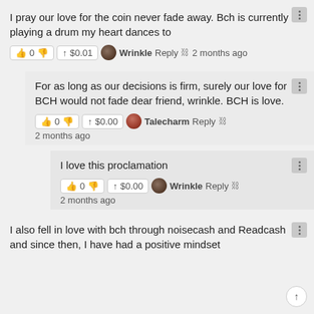I pray our love for the coin never fade away. Bch is currently playing a drum my heart dances to
👍 0 👎 ↑ $0.01 Wrinkle Reply 🔗 2 months ago
For as long as our decisions is firm, surely our love for BCH would not fade dear friend, wrinkle. BCH is love.
👍 0 👎 ↑ $0.00 Talecharm Reply 🔗
2 months ago
I love this proclamation
👍 0 👎 ↑ $0.00 Wrinkle Reply 🔗
2 months ago
I also fell in love with bch through noisecash and Readcash and since then, I have had a positive mindset